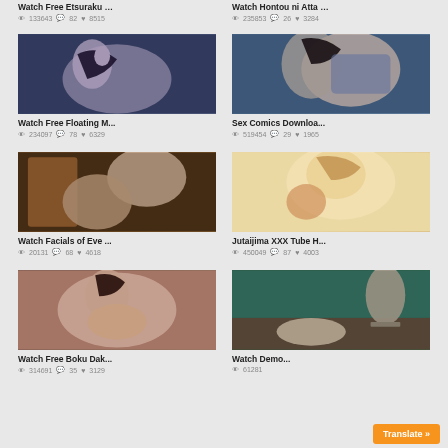Watch Free Etsuraku …   133643  82  8515
Watch Hontou ni Atta …   235853  26  3284
[Figure (photo): Anime thumbnail - Watch Free Floating M...]
Watch Free Floating M...   234097  78  6329
[Figure (photo): Anime thumbnail - Sex Comics Downloa...]
Sex Comics Downloa...   519454  29  1965
[Figure (photo): Anime thumbnail - Watch Facials of Eve ...]
Watch Facials of Eve ...   20131  68  4618
[Figure (photo): Anime thumbnail - Jutaijima XXX Tube H...]
Jutaijima XXX Tube H...   450049  87  4003
[Figure (photo): Anime thumbnail - Watch Free Boku Dak...]
Watch Free Boku Dak...   314691  35  3129
[Figure (photo): Anime thumbnail - Watch Demo...]
Watch Demo...   61281
Translate »